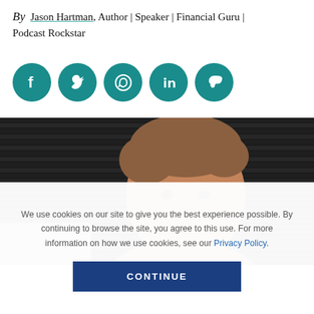By Jason Hartman, Author | Speaker | Financial Guru | Podcast Rockstar
[Figure (infographic): Five teal social media icon circles: Facebook, Twitter, WhatsApp, LinkedIn, Pinterest]
[Figure (photo): Portrait photo of a middle-aged man with light brown hair against a dark horizontal-striped background]
We use cookies on our site to give you the best experience possible. By continuing to browse the site, you agree to this use. For more information on how we use cookies, see our Privacy Policy.
CONTINUE